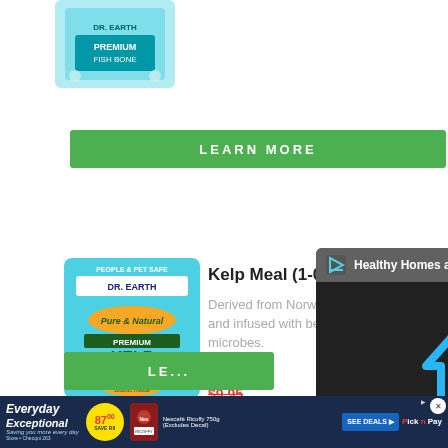[Figure (photo): Dr. Earth product bag (blue/teal colored) partially visible at top of page]
LEARN MORE
[Figure (photo): Dr. Earth Pure & Natural Premium Kelp Meal product bag with colorful garden imagery]
Kelp Meal (1-0.5-2)
Derived from Norwegian seaweed and infused with beneficial microbes.
$9.95
LE...
[Figure (screenshot): Video overlay showing 'Healthy Homes and Body' with a play button logo on dark background]
[Figure (photo): Worm product (Juigglers/Red Wiggler) circular logo partially visible at bottom]
[Figure (advertisement): Pick n Pay advertisement banner: Everyday Exceptional, 87.00, Nescafe Ricoffy 750g (Excludes Decaf), SEE DEALS]